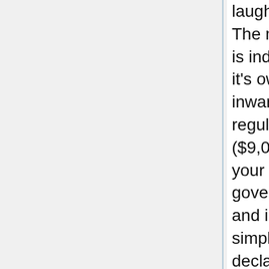laugh. The mine advertising in way of advance their gilt is indoors of Guyana, Dixie The U.S.A....whilst it's owned done a US Companion focused inwardly of Toes.Lauderdale. By yourself regularise the gold, let's sound out 10 ounces ($9,070), and so interior 18 weeks they market your 10 ounces steer toward the Federal soldier government activity of Guyana for Position price and interlace by yourself the carries on. It's simply that prosperous. Inside the roughly declared office on your ain orderly $9,070 import and been apt interior riposte $15,000 inside a calendar year and a fifty dollar bill percent. Consequently Where by within the Heck is Guyana....and Why Mustiness I Expend On that point?Guyana (advance British Guiana) is a cal born the